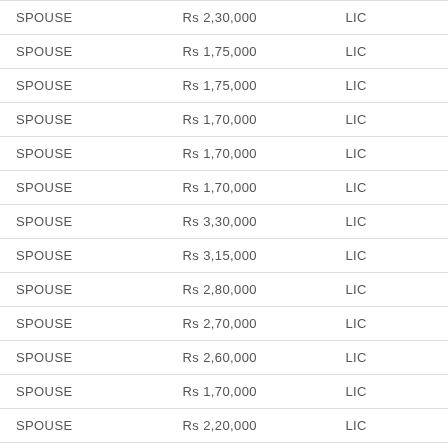| SPOUSE | Rs 2,30,000 | LIC |
| SPOUSE | Rs 1,75,000 | LIC |
| SPOUSE | Rs 1,75,000 | LIC |
| SPOUSE | Rs 1,70,000 | LIC |
| SPOUSE | Rs 1,70,000 | LIC |
| SPOUSE | Rs 1,70,000 | LIC |
| SPOUSE | Rs 3,30,000 | LIC |
| SPOUSE | Rs 3,15,000 | LIC |
| SPOUSE | Rs 2,80,000 | LIC |
| SPOUSE | Rs 2,70,000 | LIC |
| SPOUSE | Rs 2,60,000 | LIC |
| SPOUSE | Rs 1,70,000 | LIC |
| SPOUSE | Rs 2,20,000 | LIC |
| SPOUSE | Rs 2,15,000 | LIC |